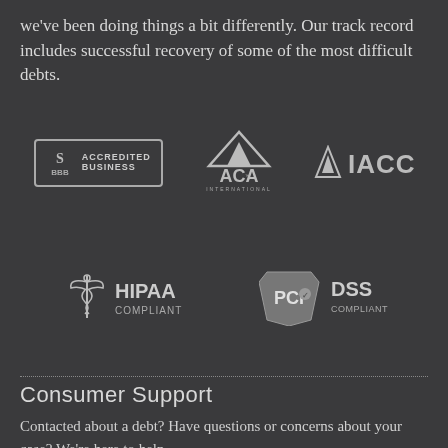we've been doing things a bit differently. Our track record includes successful recovery of some of the most difficult debts.
[Figure (logo): BBB Accredited Business logo - rectangular badge with BBB emblem and text 'ACCREDITED BUSINESS']
[Figure (logo): ACA International logo - triangle/mountain shape above ACA text with 'INTERNATIONAL' below]
[Figure (logo): IACC logo - triangle icon followed by IACC text]
[Figure (logo): HIPAA Compliant logo - caduceus medical symbol with 'HIPAA COMPLIANT' text]
[Figure (logo): PCI DSS Compliant logo - shield badge with PCI text and 'DSS COMPLIANT']
Consumer Support
Contacted about a debt? Have questions or concerns about your case? We're here to help.